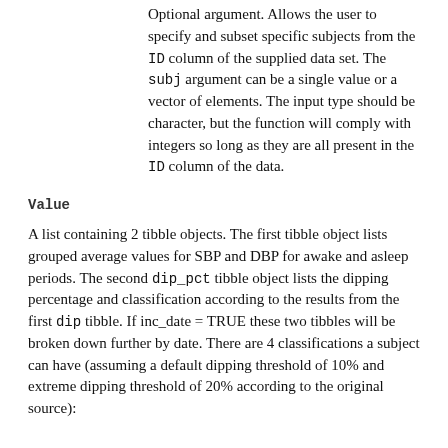Optional argument. Allows the user to specify and subset specific subjects from the ID column of the supplied data set. The subj argument can be a single value or a vector of elements. The input type should be character, but the function will comply with integers so long as they are all present in the ID column of the data.
Value
A list containing 2 tibble objects. The first tibble object lists grouped average values for SBP and DBP for awake and asleep periods. The second dip_pct tibble object lists the dipping percentage and classification according to the results from the first dip tibble. If inc_date = TRUE these two tibbles will be broken down further by date. There are 4 classifications a subject can have (assuming a default dipping threshold of 10% and extreme dipping threshold of 20% according to the original source):